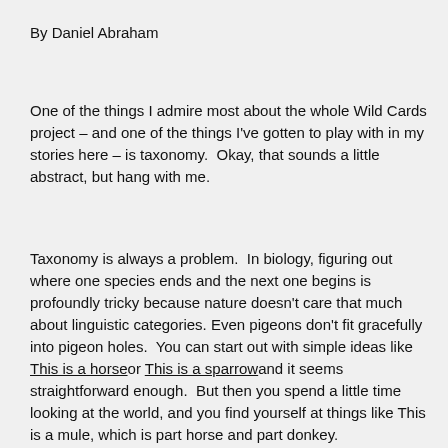By Daniel Abraham
One of the things I admire most about the whole Wild Cards project – and one of the things I've gotten to play with in my stories here – is taxonomy.  Okay, that sounds a little abstract, but hang with me.
Taxonomy is always a problem.  In biology, figuring out where one species ends and the next one begins is profoundly tricky because nature doesn't care that much about linguistic categories. Even pigeons don't fit gracefully into pigeon holes.  You can start out with simple ideas like This is a horse or This is a sparrow and it seems straightforward enough.  But then you spend a little time looking at the world, and you find yourself at things like This is a mule, which is part horse and part donkey.